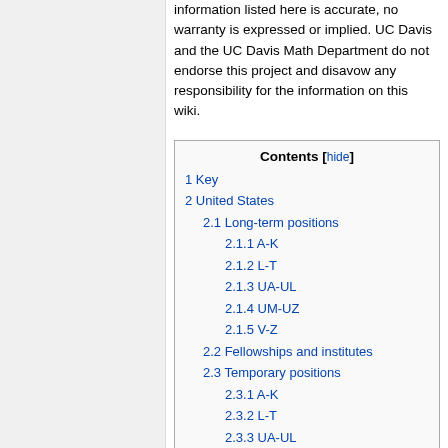information listed here is accurate, no warranty is expressed or implied. UC Davis and the UC Davis Math Department do not endorse this project and disavow any responsibility for the information on this wiki.
1 Key
2 United States
2.1 Long-term positions
2.1.1 A-K
2.1.2 L-T
2.1.3 UA-UL
2.1.4 UM-UZ
2.1.5 V-Z
2.2 Fellowships and institutes
2.3 Temporary positions
2.3.1 A-K
2.3.2 L-T
2.3.3 UA-UL
2.3.4 UM-UZ
2.3.5 V-Z
3 Canada